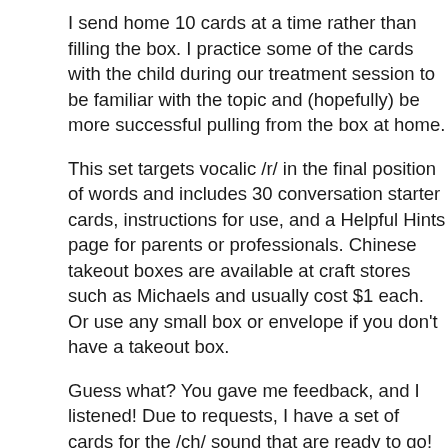I send home 10 cards at a time rather than filling the box. I practice some of the cards with the child during our treatment session to be familiar with the topic and (hopefully) be more successful pulling from the box at home.
This set targets vocalic /r/ in the final position of words and includes 30 conversation starter cards, instructions for use, and a Helpful Hints page for parents or professionals.  Chinese takeout boxes are available at craft stores such as Michaels and usually cost $1 each.  Or use any small box or envelope if you don't have a takeout box.
Guess what?  You gave me feedback, and I listened!  Due to requests, I have a set of cards for the /ch/ sound that are ready to go!  This set contains 10 initial, 10 medial and 10 final.  You can find it here.  I'm working on more and will be back again soon.
What do you think of this idea?  I'm planning to make more sets for other positions, but I'd like to know what you would use.  Please comment and I'll see what I can come up with.
Have fun!